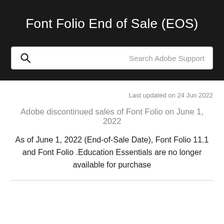Font Folio End of Sale (EOS)
[Figure (other): Search bar with magnifying glass icon and placeholder text 'Search Adobe Support']
Last updated on 24 Jun 2022
Adobe discontinued sales of Font Folio on June 1, 2022
As of June 1, 2022 (End-of-Sale Date), Font Folio 11.1 and Font Folio .Education Essentials are no longer available for purchase